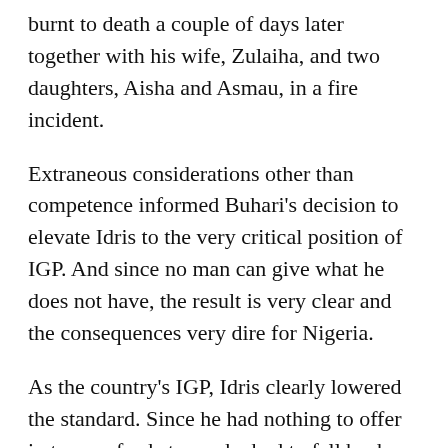burnt to death a couple of days later together with his wife, Zulaiha, and two daughters, Aisha and Asmau, in a fire incident.
Extraneous considerations other than competence informed Buhari's decision to elevate Idris to the very critical position of IGP. And since no man can give what he does not have, the result is very clear and the consequences very dire for Nigeria.
As the country's IGP, Idris clearly lowered the standard. Since he had nothing to offer in terms of substance, he had to fall back on being subservient to the powers that be.